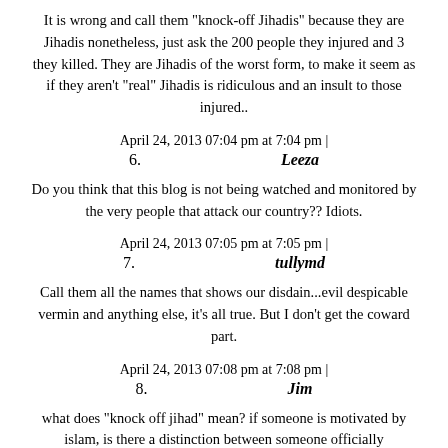It is wrong and call them "knock-off Jihadis" because they are Jihadis nonetheless, just ask the 200 people they injured and 3 they killed. They are Jihadis of the worst form, to make it seem as if they aren't "real" Jihadis is ridiculous and an insult to those injured..
April 24, 2013 07:04 pm at 7:04 pm |
6. Leeza
Do you think that this blog is not being watched and monitored by the very people that attack our country?? Idiots.
April 24, 2013 07:05 pm at 7:05 pm |
7. tullymd
Call them all the names that shows our disdain...evil despicable vermin and anything else, it's all true. But I don't get the coward part.
April 24, 2013 07:08 pm at 7:08 pm |
8. Jim
what does "knock off jihad" mean? if someone is motivated by islam, is there a distinction between someone officially